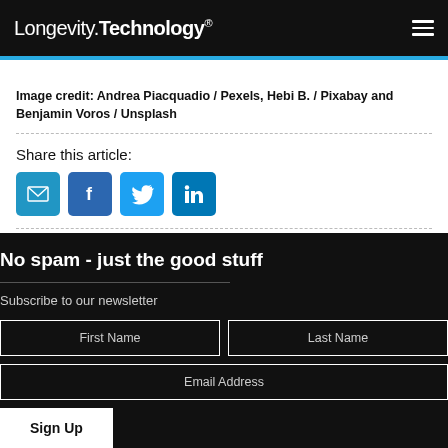Longevity.Technology®
Image credit: Andrea Piacquadio / Pexels, Hebi B. / Pixabay and Benjamin Voros / Unsplash
Share this article:
[Figure (infographic): Social sharing icons: email (blue envelope), Facebook (blue f), Twitter (blue bird), LinkedIn (blue in)]
No spam - just the good stuff
Subscribe to our newsletter
First Name
Last Name
Email Address
Sign Up